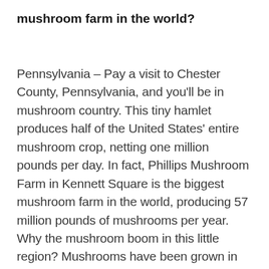mushroom farm in the world?
Pennsylvania – Pay a visit to Chester County, Pennsylvania, and you'll be in mushroom country. This tiny hamlet produces half of the United States' entire mushroom crop, netting one million pounds per day. In fact, Phillips Mushroom Farm in Kennett Square is the biggest mushroom farm in the world, producing 57 million pounds of mushrooms per year. Why the mushroom boom in this little region? Mushrooms have been grown in the area since the 1800s when local Quakers decided to plant them